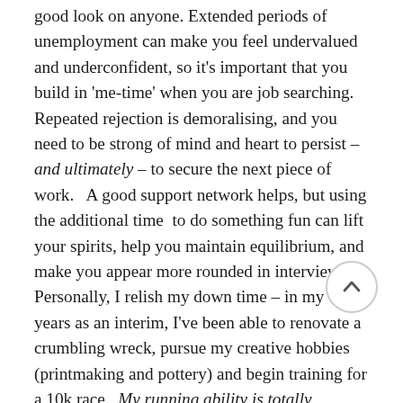good look on anyone. Extended periods of unemployment can make you feel undervalued and underconfident, so it's important that you build in 'me-time' when you are job searching. Repeated rejection is demoralising, and you need to be strong of mind and heart to persist – and ultimately – to secure the next piece of work.   A good support network helps, but using the additional time  to do something fun can lift your spirits, help you maintain equilibrium, and make you appear more rounded in interviews. Personally, I relish my down time – in my 7 years as an interim, I've been able to renovate a crumbling wreck, pursue my creative hobbies (printmaking and pottery) and begin training for a 10k race.  My running ability is totally remedial but at least it gets the blood flowing to my brain while I'm pounding the pavement!
Job hunting can be tough, but it needn't be tiresome